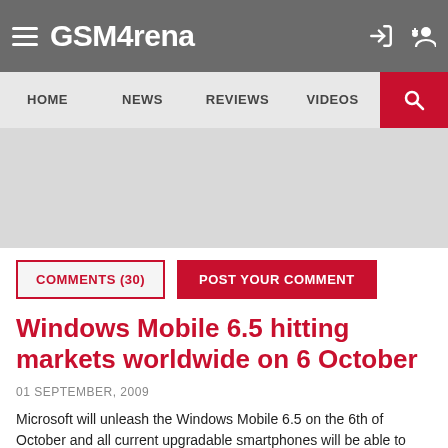GSMArena
[Figure (screenshot): GSMArena website navigation bar with hamburger menu, GSMArena logo, login and add user icons on grey background]
[Figure (screenshot): Secondary navigation bar with HOME, NEWS, REVIEWS, VIDEOS links and red search button]
[Figure (screenshot): Grey advertisement banner area]
COMMENTS (30)   POST YOUR COMMENT
Windows Mobile 6.5 hitting markets worldwide on 6 October
01 SEPTEMBER, 2009
Microsoft will unleash the Windows Mobile 6.5 on the 6th of October and all current upgradable smartphones will be able to install it. Those and the new, which are still not launched, will ship directly with the new OS...